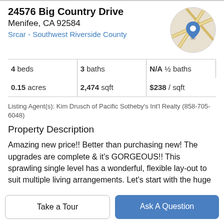24576 Big Country Drive
Menifee, CA 92584
Srcar - Southwest Riverside County
[Figure (map): Circular map thumbnail showing location pin for 24576 Big Country Drive, Menifee, CA]
| 4 beds | 3 baths | N/A ½ baths |
| 0.15 acres | 2,474 sqft | $238 / sqft |
Listing Agent(s): Kim Drusch of Pacific Sotheby's Int'l Realty (858-705-6048)
Property Description
Amazing new price!! Better than purchasing new! The upgrades are complete & it's GORGEOUS!! This sprawling single level has a wonderful, flexible lay-out to suit multiple living arrangements. Let's start with the huge
Take a Tour
Ask A Question